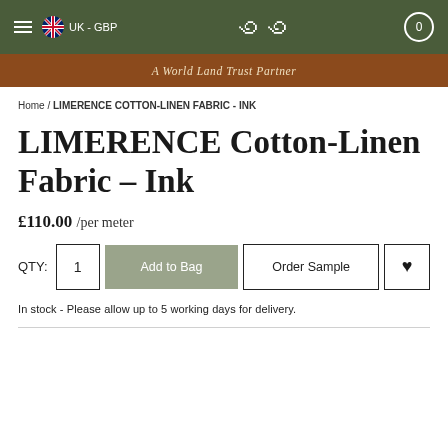UK - GBP | [logo] | 0
A World Land Trust Partner
Home / LIMERENCE COTTON-LINEN FABRIC - INK
LIMERENCE Cotton-Linen Fabric – Ink
£110.00 /per meter
QTY: 1  Add to Bag  Order Sample  ♥
In stock - Please allow up to 5 working days for delivery.